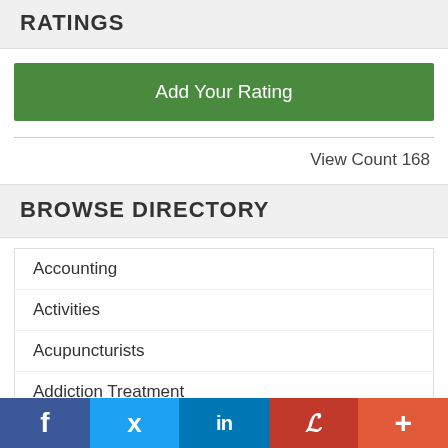RATINGS
Add Your Rating
View Count 168
BROWSE DIRECTORY
Accounting
Activities
Acupuncturists
Addiction Treatment
Adult Foster Care
f  [Twitter bird]  in  P  +